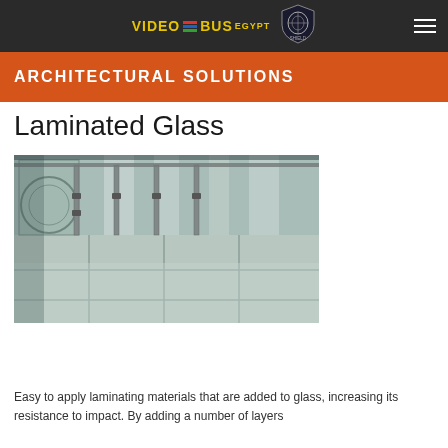VIDEO BUS EGYPT [logo with shield]
ARCHITECTURAL SOLUTIONS
Laminated Glass
[Figure (photo): Interior architectural photo showing laminated glass floor panels and glass railings in a modern building atrium with light streaming through.]
Easy to apply laminating materials that are added to glass, increasing its resistance to impact. By adding a number of layers